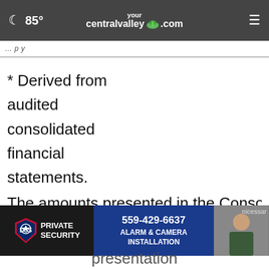yourcentralvalley.com — 85°
* Derived from audited consolidated financial statements.
The amounts presented in the Consolidated Balance Sheet as of March 31, 2022 and 2021 are unaudited but include all adjustments necessary for fair presentation
[Figure (screenshot): DSS Private Security advertisement with phone number 559-429-6637 and Alarm & Camera Installation services]
presentation